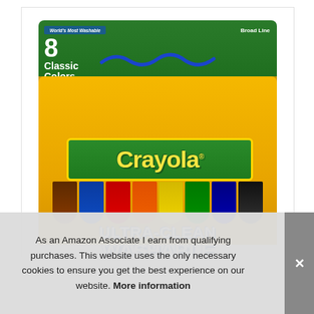[Figure (photo): Crayola Ultra-Clean Washable Markers box, 8 Classic Colors, Broad Line. Yellow/orange box with green top panel. Shows 8 marker caps in various colors (brown, blue, red, orange, yellow, green, dark blue, black). Green Crayola logo with yellow text. Blue bubble-style text reading ULTRA-CLEAN WASHABLE MARKERS.]
As an Amazon Associate I earn from qualifying purchases. This website uses the only necessary cookies to ensure you get the best experience on our website. More information